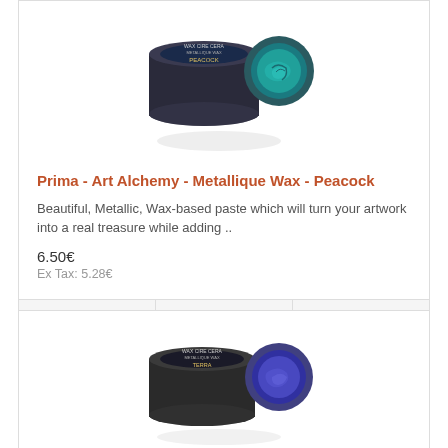[Figure (photo): Product photo of Prima Art Alchemy Metallique Wax in Peacock colorway - two circular tins, one open showing teal/peacock blue metallic wax]
Prima - Art Alchemy - Metallique Wax - Peacock
Beautiful, Metallic, Wax-based paste which will turn your artwork into a real treasure while adding ..
6.50€
Ex Tax: 5.28€
[Figure (photo): Product photo of Prima Art Alchemy Metallique Wax - two circular tins, one open showing dark metallic wax, partial view at bottom of page]